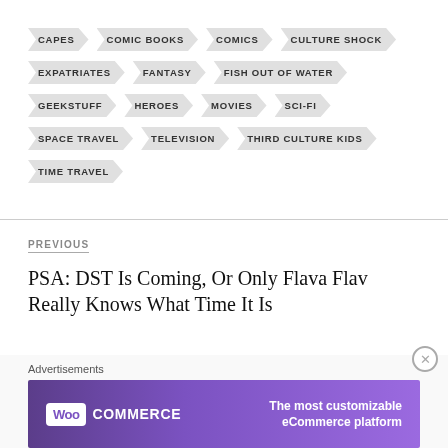CAPES
COMIC BOOKS
COMICS
CULTURE SHOCK
EXPATRIATES
FANTASY
FISH OUT OF WATER
GEEKSTUFF
HEROES
MOVIES
SCI-FI
SPACE TRAVEL
TELEVISION
THIRD CULTURE KIDS
TIME TRAVEL
PREVIOUS
PSA: DST Is Coming, Or Only Flava Flav Really Knows What Time It Is
Advertisements
[Figure (screenshot): WooCommerce advertisement banner: purple background with WooCommerce logo on left and text 'The most customizable eCommerce platform' on right]